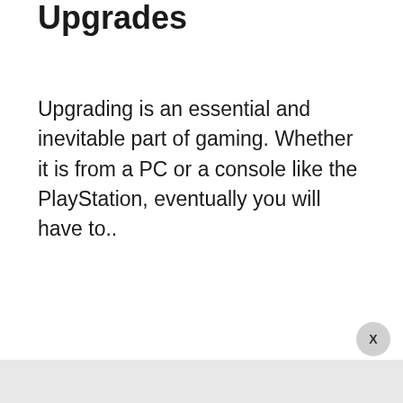Upgrades
Upgrading is an essential and inevitable part of gaming. Whether it is from a PC or a console like the PlayStation, eventually you will have to..